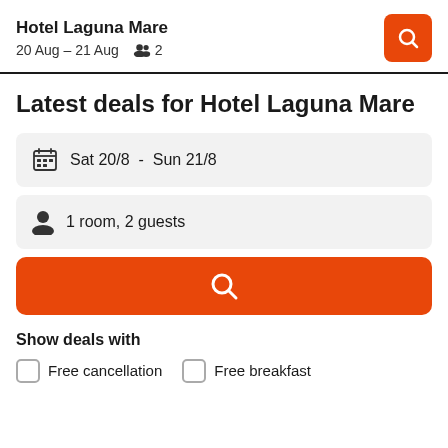Hotel Laguna Mare
20 Aug – 21 Aug  2
Latest deals for Hotel Laguna Mare
Sat 20/8  -  Sun 21/8
1 room, 2 guests
Show deals with
Free cancellation
Free breakfast